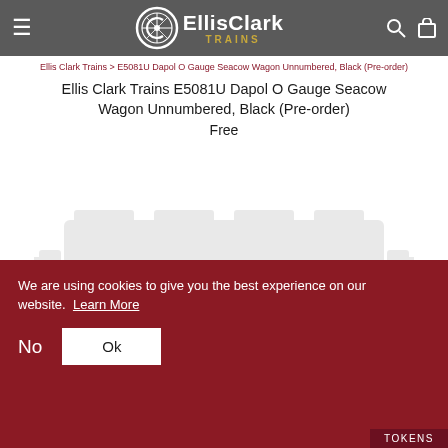Ellis Clark Trains — EllisClark TRAINS
Ellis Clark Trains > E5081U Dapol O Gauge Seacow Wagon Unnumbered, Black (Pre-order)
Ellis Clark Trains E5081U Dapol O Gauge Seacow Wagon Unnumbered, Black (Pre-order)
Free
[Figure (photo): Faint ghost/watermark image of a Seacow wagon train model, very light gray on white background]
We are using cookies to give you the best experience on our website.  Learn More
No  Ok